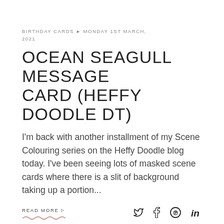BIRTHDAY CARDS ► MONDAY 1ST MARCH, 2021
OCEAN SEAGULL MESSAGE CARD (HEFFY DOODLE DT)
I'm back with another installment of my Scene Colouring series on the Heffy Doodle blog today. I've been seeing lots of masked scene cards where there is a slit of background taking up a portion...
READ MORE ▷